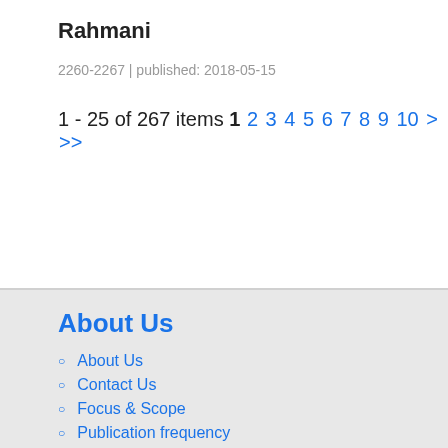Rahmani
2260-2267 | published: 2018-05-15
1 - 25 of 267 items 1 2 3 4 5 6 7 8 9 10 > >>
About Us
About Us
Contact Us
Focus & Scope
Publication frequency